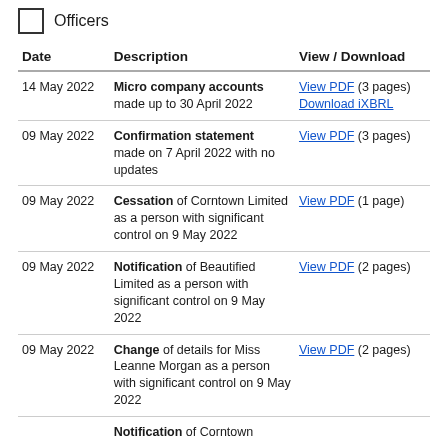Officers
| Date | Description | View / Download |
| --- | --- | --- |
| 14 May 2022 | Micro company accounts made up to 30 April 2022 | View PDF (3 pages)
Download iXBRL |
| 09 May 2022 | Confirmation statement made on 7 April 2022 with no updates | View PDF (3 pages) |
| 09 May 2022 | Cessation of Corntown Limited as a person with significant control on 9 May 2022 | View PDF (1 page) |
| 09 May 2022 | Notification of Beautified Limited as a person with significant control on 9 May 2022 | View PDF (2 pages) |
| 09 May 2022 | Change of details for Miss Leanne Morgan as a person with significant control on 9 May 2022 | View PDF (2 pages) |
|  | Notification of Corntown |  |